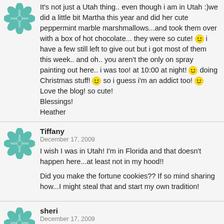It's not just a Utah thing.. even though i am in Utah :)we did a little bit Martha this year and did her cute peppermint marble marshmallows...and took them over with a box of hot chocolate... they were so cute! 😀 i have a few still left to give out but i got most of them this week.. and oh.. you aren't the only on spray painting out here.. i was too! at 10:00 at night! 😀 doing Christmas stuff! 😀 so i guess i'm an addict too! 😀 Love the blog! so cute!
Blessings!
Heather
[Figure (illustration): Teal decorative snowflake/flower avatar icon]
Tiffany
December 17, 2009
I wish I was in Utah! I'm in Florida and that doesn't happen here...at least not in my hood!!

Did you make the fortune cookies?? If so mind sharing how...I might steal that and start my own tradition!
[Figure (illustration): Teal decorative snowflake/flower avatar icon]
sheri
December 17, 2009